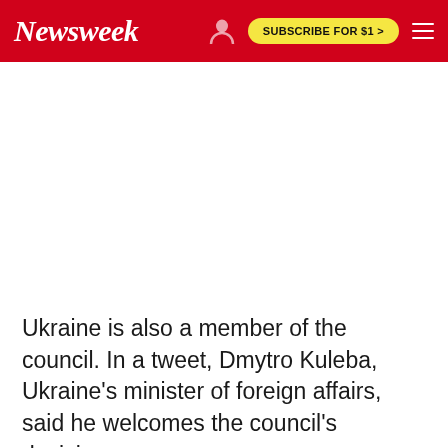Newsweek | SUBSCRIBE FOR $1 >
[Figure (other): Advertisement or empty white space area below the Newsweek navigation bar]
Ukraine is also a member of the council. In a tweet, Dmytro Kuleba, Ukraine's minister of foreign affairs, said he welcomes the council's decision.